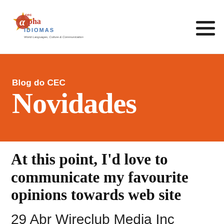[Figure (logo): CEC Alpha Idiomas logo with orange star and alpha symbol, text 'World Languages, Culture & Communication']
Blog do CEC
Novidades
At this point, I'd love to communicate my favourite opinions towards web site
29 Abr Wireclub Media Inc
On the internet talking opinions and data has a fair...